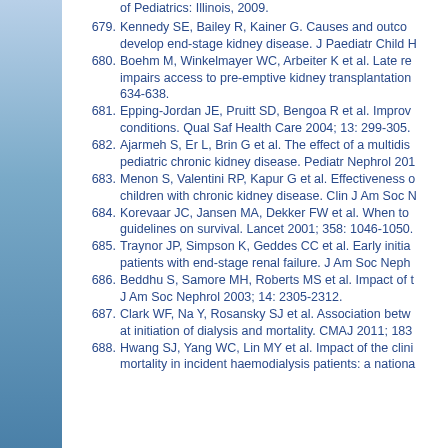of Pediatrics: Illinois, 2009.
679. Kennedy SE, Bailey R, Kainer G. Causes and outcomes of children who develop end-stage kidney disease. J Paediatr Child H
680. Boehm M, Winkelmayer WC, Arbeiter K et al. Late referral to paediatric renal care impairs access to pre-emptive kidney transplantation. 634-638.
681. Epping-Jordan JE, Pruitt SD, Bengoa R et al. Improving the quality of health care for chronic conditions. Qual Saf Health Care 2004; 13: 299-305.
682. Ajarmeh S, Er L, Brin G et al. The effect of a multidisciplinary care clinic on pediatric chronic kidney disease. Pediatr Nephrol 201
683. Menon S, Valentini RP, Kapur G et al. Effectiveness of children with chronic kidney disease. Clin J Am Soc N
684. Korevaar JC, Jansen MA, Dekker FW et al. When to initiate guidelines on survival. Lancet 2001; 358: 1046-1050.
685. Traynor JP, Simpson K, Geddes CC et al. Early initiation of patients with end-stage renal failure. J Am Soc Neph
686. Beddhu S, Samore MH, Roberts MS et al. Impact of J Am Soc Nephrol 2003; 14: 2305-2312.
687. Clark WF, Na Y, Rosansky SJ et al. Association betw at initiation of dialysis and mortality. CMAJ 2011; 183
688. Hwang SJ, Yang WC, Lin MY et al. Impact of the clini mortality in incident haemodialysis patients: a nationa